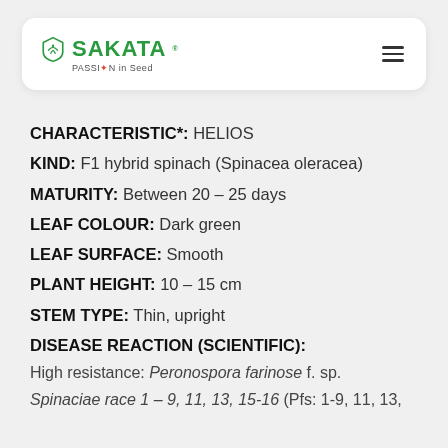[Figure (logo): Sakata logo with shield icon and tagline PASSION in Seed]
CHARACTERISTIC*: HELIOS
KIND: F1 hybrid spinach (Spinacea oleracea)
MATURITY: Between 20 – 25 days
LEAF COLOUR: Dark green
LEAF SURFACE: Smooth
PLANT HEIGHT: 10 – 15 cm
STEM TYPE: Thin, upright
DISEASE REACTION (SCIENTIFIC):
High resistance: Peronospora farinose f. sp. Spinaciae race 1 – 9, 11, 13, 15-16 (Pfs: 1-9, 11, 13,